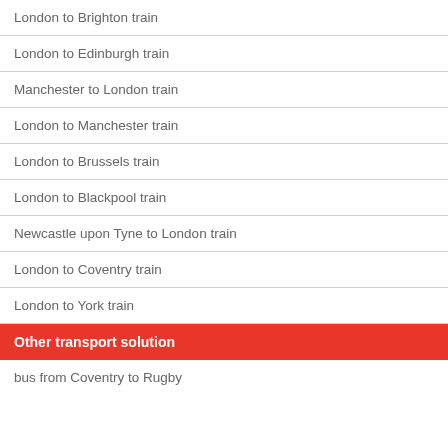London to Brighton train
London to Edinburgh train
Manchester to London train
London to Manchester train
London to Brussels train
London to Blackpool train
Newcastle upon Tyne to London train
London to Coventry train
London to York train
Other transport solution
bus from Coventry to Rugby